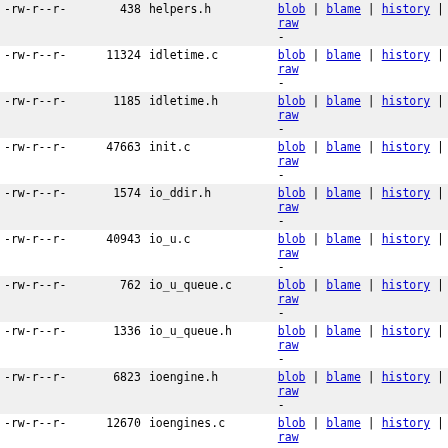| permissions | size | name | links |
| --- | --- | --- | --- |
| -rw-r--r- | 438 | helpers.h | blob | blame | history | raw |
| -rw-r--r- | 11324 | idletime.c | blob | blame | history | raw |
| -rw-r--r- | 1185 | idletime.h | blob | blame | history | raw |
| -rw-r--r- | 47663 | init.c | blob | blame | history | raw |
| -rw-r--r- | 1574 | io_ddir.h | blob | blame | history | raw |
| -rw-r--r- | 40943 | io_u.c | blob | blame | history | raw |
| -rw-r--r- | 762 | io_u_queue.c | blob | blame | history | raw |
| -rw-r--r- | 1336 | io_u_queue.h | blob | blame | history | raw |
| -rw-r--r- | 6823 | ioengine.h | blob | blame | history | raw |
| -rw-r--r- | 12670 | ioengines.c | blob | blame | history | raw |
| -rw-r--r- | 14922 | iolog.c | blob | blame | history | raw |
| -rw-r--r- | 3280 | iolog.h | blob | blame | history | raw |
| -rw-r--r- | 8055 | json.c | blob | blame | history | raw |
| -rw-r--r- | 2424 | json.h | blob | blame | history | raw |